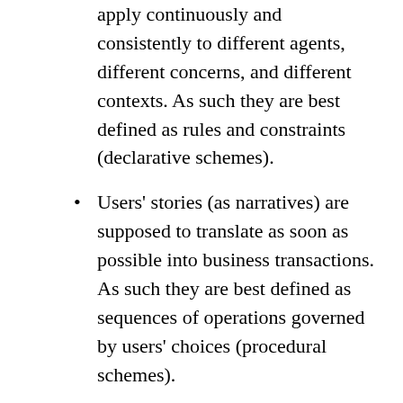apply continuously and consistently to different agents, different concerns, and different contexts. As such they are best defined as rules and constraints (declarative schemes).
Users' stories (as narratives) are supposed to translate as soon as possible into business transactions. As such they are best defined as sequences of operations governed by users' choices (procedural schemes).
Then, just like narratives are meant to carry out the plots, users' stories are supposed to follow the paths set by business objectives. But if confusion is to be avoided between strategic orientations, regulatory directives, and opportunist moves, the walk of business